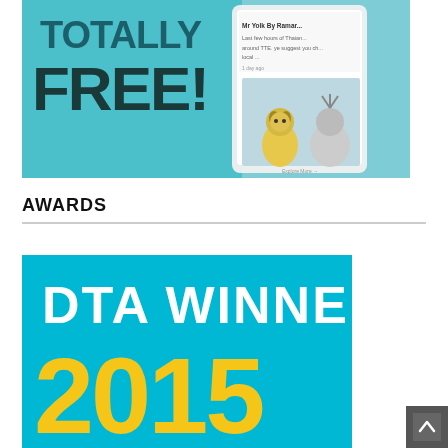[Figure (photo): Promotional image showing 'TOTALLY FREE!' text on teal background with a smartphone displaying social media content about Mr Yolk By Ramars, alongside decorative toy figurines]
AWARDS
[Figure (photo): DTA WINNER 2015 award badge with white text on bright blue/cyan background and yellow '2015' text]